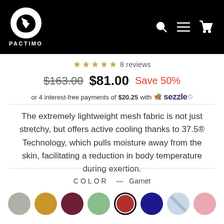PACTIMO
★★★★★ 8 reviews
$163.00  $81.00  Save 50%
or 4 interest-free payments of $20.25 with Sezzle
The extremely lightweight mesh fabric is not just stretchy, but offers active cooling thanks to 37.5® Technology, which pulls moisture away from the skin, facilitating a reduction in body temperature during exertion.
COLOR — Garnet